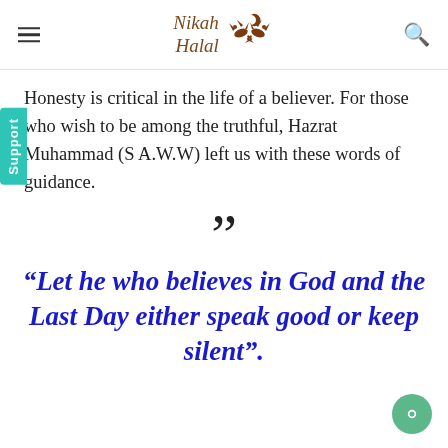Nikah Halal
Honesty is critical in the life of a believer. For those who wish to be among the truthful, Hazrat Muhammad (S.A.W.W) left us with these words of guidance.
”
“Let he who believes in God and the Last Day either speak good or keep silent”.